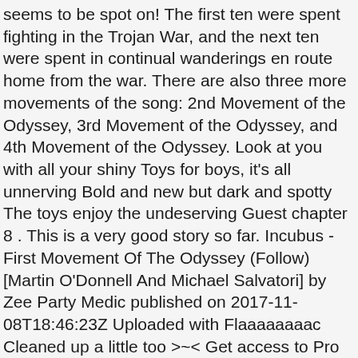seems to be spot on! The first ten were spent fighting in the Trojan War, and the next ten were spent in continual wanderings en route home from the war. There are also three more movements of the song: 2nd Movement of the Odyssey, 3rd Movement of the Odyssey, and 4th Movement of the Odyssey. Look at you with all your shiny Toys for boys, it's all unnerving Bold and new but dark and spotty The toys enjoy the undeserving Guest chapter 8 . This is a very good story so far. Incubus - First Movement Of The Odyssey (Follow) [Martin O'Donnell And Michael Salvatori] by Zee Party Medic published on 2017-11-08T18:46:23Z Uploaded with Flaaaaaaaac Cleaned up a little too >~< Get access to Pro version of âFollow 1St Movement Of The Odyssey"! Deezer : musique en streaming gratuite. yo! Ultimate Guitar Pro is a premium guitar tab service, available on PC, Mac, iOS and Android. Perfect for acing essays, tests, and quizzes, as well as for writing lesson plans. History Odyssey combines classical and real-book approaches to create a complete history curriculum for grades 1 through